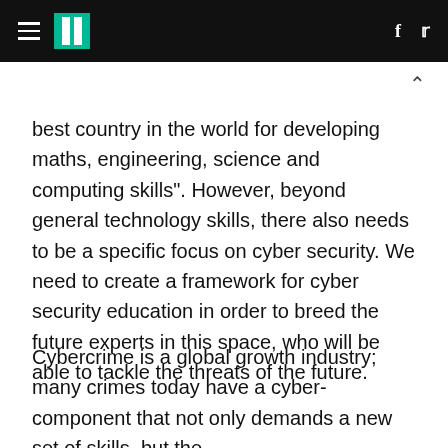HuffPost header with hamburger menu, logo, Facebook and Twitter icons
best country in the world for developing maths, engineering, science and computing skills". However, beyond general technology skills, there also needs to be a specific focus on cyber security. We need to create a framework for cyber security education in order to breed the future experts in this space, who will be able to tackle the threats of the future.
Cybercrime is a global growth industry; many crimes today have a cyber-component that not only demands a new set of skills, but the